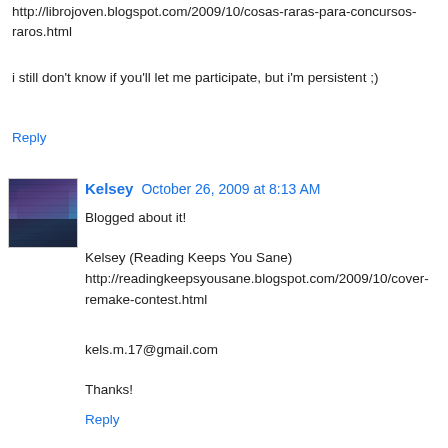http://librojoven.blogspot.com/2009/10/cosas-raras-para-concursos-raros.html
i still don't know if you'll let me participate, but i'm persistent ;)
Reply
Kelsey  October 26, 2009 at 8:13 AM
Blogged about it!
Kelsey (Reading Keeps You Sane)
http://readingkeepsyousane.blogspot.com/2009/10/cover-remake-contest.html

kels.m.17@gmail.com

Thanks!
Reply